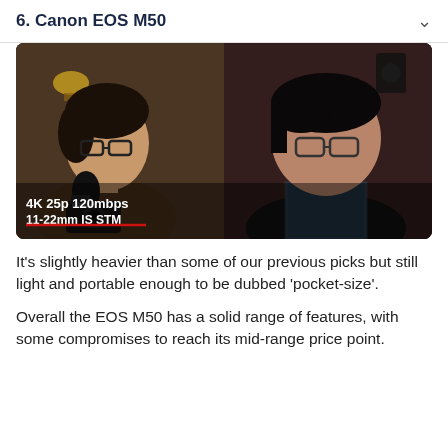6. Canon EOS M50
[Figure (photo): Two men facing the camera, one holding a camera with a microphone attached. Overlay text reads '4K 25p 120mbps' and '11-22mm IS STM' with a red strikethrough line. Photo appears to be a split-screen or side-by-side shot in different settings.]
It’s slightly heavier than some of our previous picks but still light and portable enough to be dubbed ‘pocket-size’.
Overall the EOS M50 has a solid range of features, with some compromises to reach its mid-range price point.